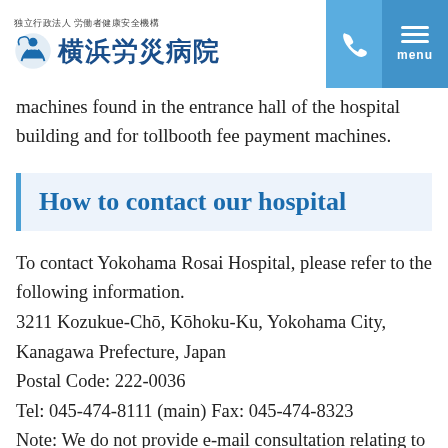独立行政法人 労働者健康安全機構 横浜労災病院
machines found in the entrance hall of the hospital building and for tollbooth fee payment machines.
How to contact our hospital
To contact Yokohama Rosai Hospital, please refer to the following information.
3211 Kozukue-Chō, Kōhoku-Ku, Yokohama City, Kanagawa Prefecture, Japan
Postal Code: 222-0036
Tel: 045-474-8111 (main) Fax: 045-474-8323
Note: We do not provide e-mail consultation relating to medical treatment. If you are a patient being treated at this hospital and require consultation relating to